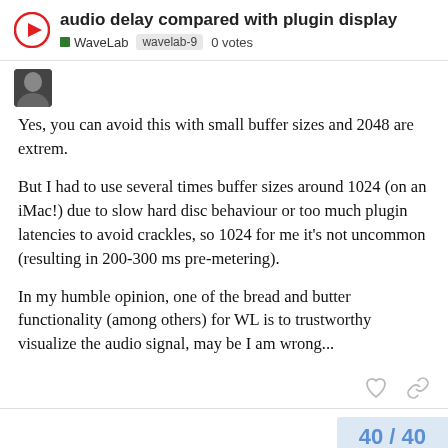audio delay compared with plugin display | WaveLab wavelab-9 0 votes
Yes, you can avoid this with small buffer sizes and 2048 are extrem.
But I had to use several times buffer sizes around 1024 (on an iMac!) due to slow hard disc behaviour or too much plugin latencies to avoid crackles, so 1024 for me it's not uncommon (resulting in 200-300 ms pre-metering).
In my humble opinion, one of the bread and butter functionality (among others) for WL is to trustworthy visualize the audio signal, may be I am wrong...
40 / 40